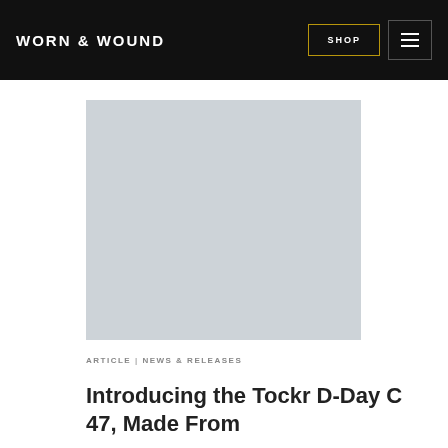WORN & WOUND
[Figure (photo): Large light gray placeholder image for article hero photo]
ARTICLE | NEWS & RELEASES
Introducing the Tockr D-Day C 47, Made From...